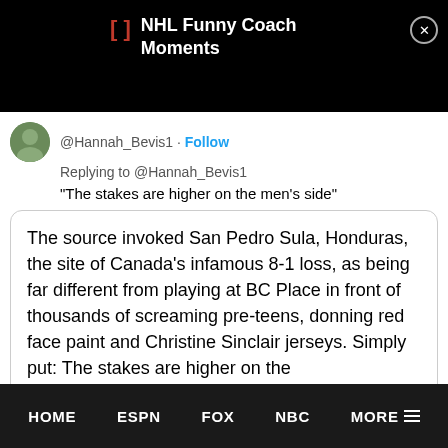NHL Funny Coach Moments
@Hannah_Bevis1 · Follow
Replying to @Hannah_Bevis1
"The stakes are higher on the men's side"
The source invoked San Pedro Sula, Honduras, the site of Canada's infamous 8-1 loss, as being far different from playing at BC Place in front of thousands of screaming pre-teens, donning red face paint and Christine Sinclair jerseys. Simply put: The stakes are higher on the
HOME   ESPN   FOX   NBC   MORE